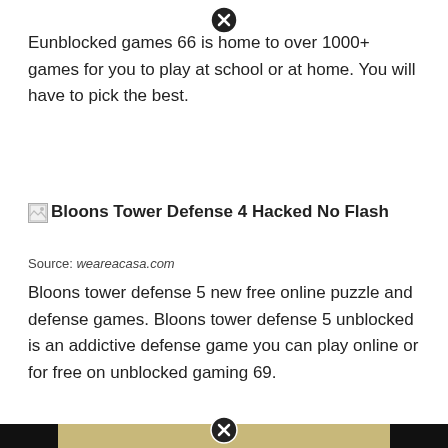[Figure (other): Close button (X circle) at top center of page]
Eunblocked games 66 is home to over 1000+ games for you to play at school or at home. You will have to pick the best.
[Figure (other): Broken image icon followed by text: Bloons Tower Defense 4 Hacked No Flash]
Source: weareacasa.com
Bloons tower defense 5 new free online puzzle and defense games. Bloons tower defense 5 unblocked is an addictive defense game you can play online or for free on unblocked gaming 69.
[Figure (screenshot): Screenshot of Bloons Tower Defense game showing a maze-like map with a winding road on a tan/sandy background, with game UI on the right side. The image is flanked by black bars on left and right. A close button appears at the bottom center.]